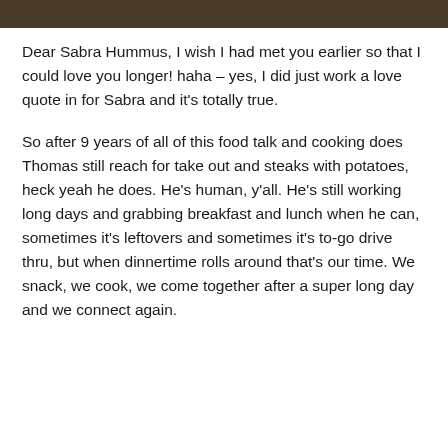[Figure (photo): Partial photo strip at the top of the page, showing a dark/brown toned image cropped at the bottom edge.]
Dear Sabra Hummus, I wish I had met you earlier so that I could love you longer! haha – yes, I did just work a love quote in for Sabra and it's totally true.
So after 9 years of all of this food talk and cooking does Thomas still reach for take out and steaks with potatoes, heck yeah he does. He's human, y'all. He's still working long days and grabbing breakfast and lunch when he can, sometimes it's leftovers and sometimes it's to-go drive thru, but when dinnertime rolls around that's our time. We snack, we cook, we come together after a super long day and we connect again.